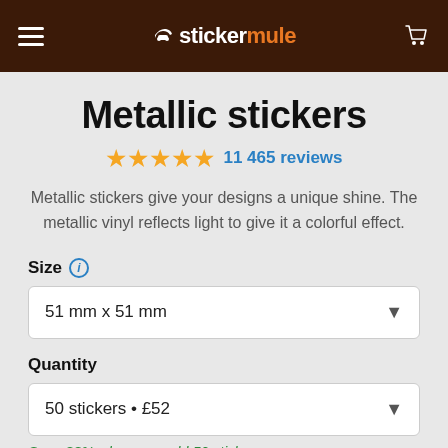stickermule
Metallic stickers
11 465 reviews
Metallic stickers give your designs a unique shine. The metallic vinyl reflects light to give it a colorful effect.
Size
51 mm x 51 mm
Quantity
50 stickers • £52
Save 38% when you add 50 stickers